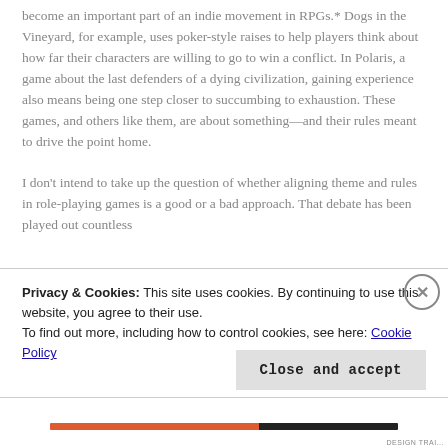become an important part of an indie movement in RPGs.* Dogs in the Vineyard, for example, uses poker-style raises to help players think about how far their characters are willing to go to win a conflict. In Polaris, a game about the last defenders of a dying civilization, gaining experience also means being one step closer to succumbing to exhaustion. These games, and others like them, are about something—and their rules meant to drive the point home.
I don't intend to take up the question of whether aligning theme and rules in role-playing games is a good or a bad approach. That debate has been played out countless
Privacy & Cookies: This site uses cookies. By continuing to use this website, you agree to their use.
To find out more, including how to control cookies, see here: Cookie Policy
Close and accept